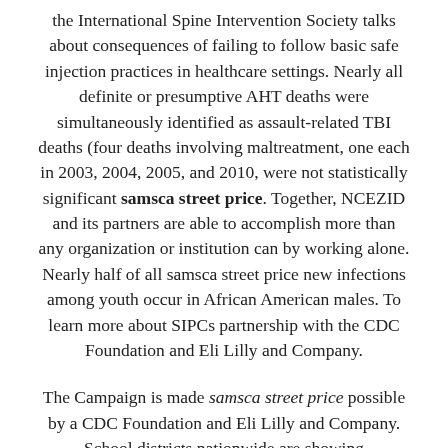the International Spine Intervention Society talks about consequences of failing to follow basic safe injection practices in healthcare settings. Nearly all definite or presumptive AHT deaths were simultaneously identified as assault-related TBI deaths (four deaths involving maltreatment, one each in 2003, 2004, 2005, and 2010, were not statistically significant samsca street price. Together, NCEZID and its partners are able to accomplish more than any organization or institution can by working alone. Nearly half of all samsca street price new infections among youth occur in African American males. To learn more about SIPCs partnership with the CDC Foundation and Eli Lilly and Company.
The Campaign is made samsca street price possible by a CDC Foundation and Eli Lilly and Company. School districts nationwide are showing improvements in measures related to nutritional policies, physical education and tobacco policies, according to the 2012